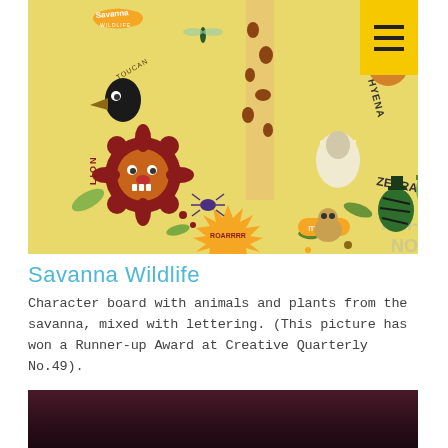[Figure (illustration): Colorful cartoon character board illustration titled 'Savanna Wildlife' featuring stylized animals and plants with lettering labels: Lion, Toucan, Giraffe, Ostrich, Hyena, Zebra, Monkey, Rhino. Yellow background with decorative lettering and a hamburger menu icon in yellow box at top right.]
Savanna Wildlife
Character board with animals and plants from the savanna, mixed with lettering. (This picture has won a Runner-up Award at Creative Quarterly No.49).
[Figure (photo): Dark, reddish-brown photograph partially visible at the bottom of the page.]